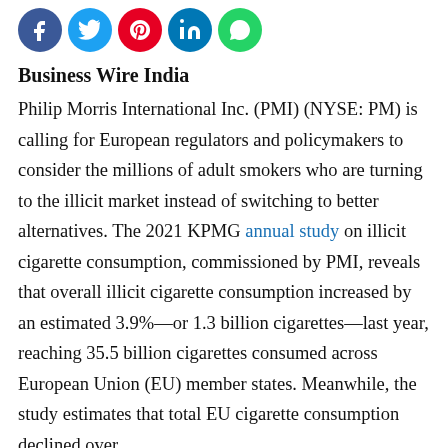[Figure (other): Row of five social media sharing icon circles: Facebook (blue), Twitter (light blue), Pinterest (red), LinkedIn (dark blue), WhatsApp (green)]
Business Wire India
Philip Morris International Inc. (PMI) (NYSE: PM) is calling for European regulators and policymakers to consider the millions of adult smokers who are turning to the illicit market instead of switching to better alternatives. The 2021 KPMG annual study on illicit cigarette consumption, commissioned by PMI, reveals that overall illicit cigarette consumption increased by an estimated 3.9%—or 1.3 billion cigarettes—last year, reaching 35.5 billion cigarettes consumed across European Union (EU) member states. Meanwhile, the study estimates that total EU cigarette consumption declined over